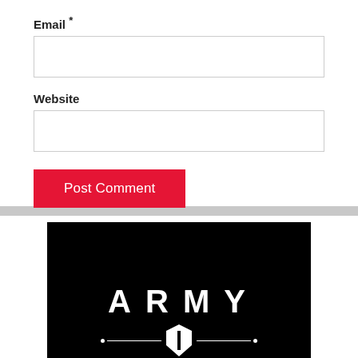Email *
Website
Post Comment
[Figure (logo): ARMY logo with large white bold spaced letters on black background, with decorative emblem line and shield shape below]